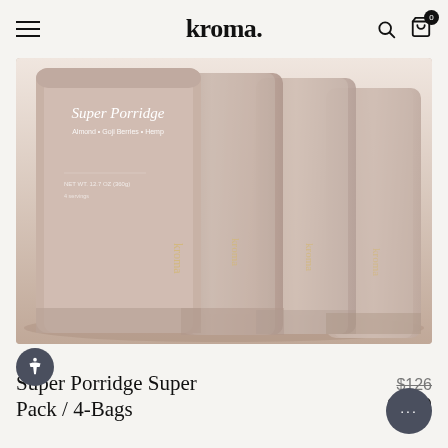kroma.
[Figure (photo): Multiple beige/tan pouches of Kroma Super Porridge product arranged side by side, showing the product label 'Super Porridge - Almond + Goji Berries + Hemp' and 'NET WT. 12.7 OZ (360g)']
Super Porridge Super Pack / 4-Bags
$126 $120